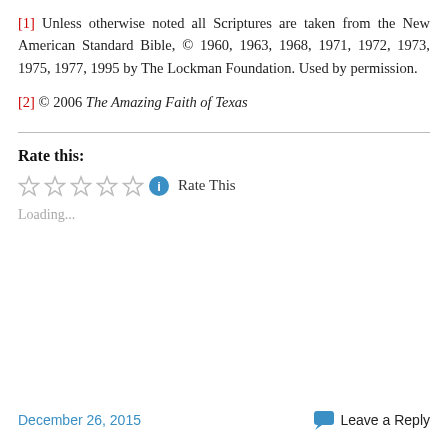[1] Unless otherwise noted all Scriptures are taken from the New American Standard Bible, © 1960, 1963, 1968, 1971, 1972, 1973, 1975, 1977, 1995 by The Lockman Foundation. Used by permission.
[2] © 2006 The Amazing Faith of Texas
Rate this:
[Figure (other): Five empty star rating widgets followed by an info icon and 'Rate This' text]
Loading...
December 26, 2015   Leave a Reply